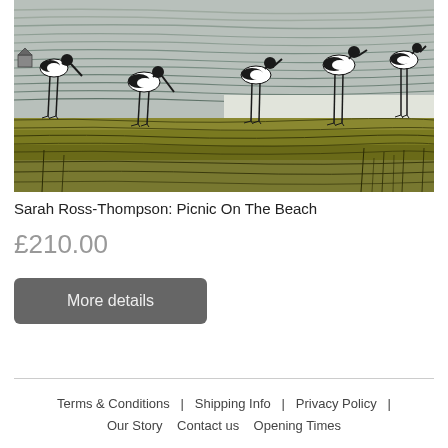[Figure (illustration): Artwork illustration of five wading birds (avocets/stilts) in black and white with olive-brown and grey-green marsh landscape background, in a printmaking/etching style]
Sarah Ross-Thompson: Picnic On The Beach
£210.00
More details
Terms & Conditions  |  Shipping Info  |  Privacy Policy  |
Our Story   Contact us   Opening Times